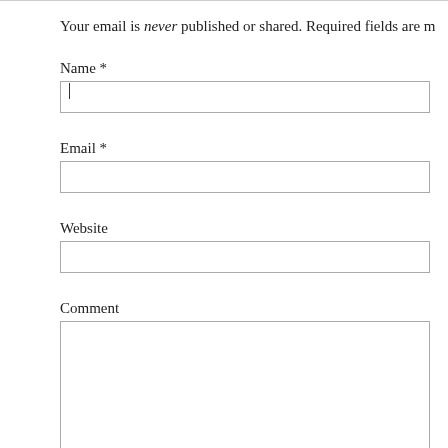Your email is never published or shared. Required fields are m
Name *
Email *
Website
Comment